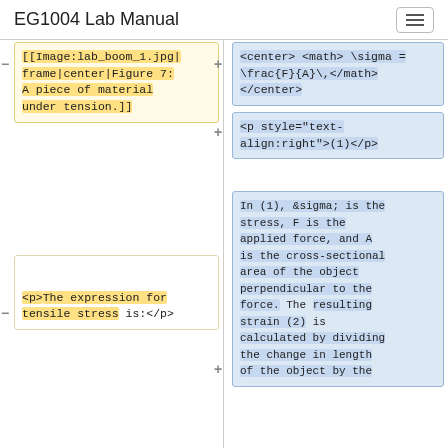EG1004 Lab Manual
[[Image:lab_boom_1.jpg|frame|center|Figure 7: A piece of material under tension.]]
<center> <math> \sigma = \frac{F}{A}\,</math> </center>
<p style="text-align:right">(1)</p>
<p>The expression for tensile stress is:</p>
In (1), &sigma; is the stress, F is the applied force, and A is the cross-sectional area of the object perpendicular to the force. The resulting strain (2) is calculated by dividing the change in length of the object by the original length.